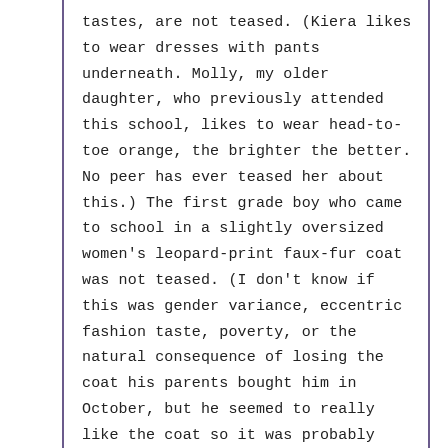tastes, are not teased. (Kiera likes to wear dresses with pants underneath. Molly, my older daughter, who previously attended this school, likes to wear head-to-toe orange, the brighter the better. No peer has ever teased her about this.) The first grade boy who came to school in a slightly oversized women's leopard-print faux-fur coat was not teased. (I don't know if this was gender variance, eccentric fashion taste, poverty, or the natural consequence of losing the coat his parents bought him in October, but he seemed to really like the coat so it was probably